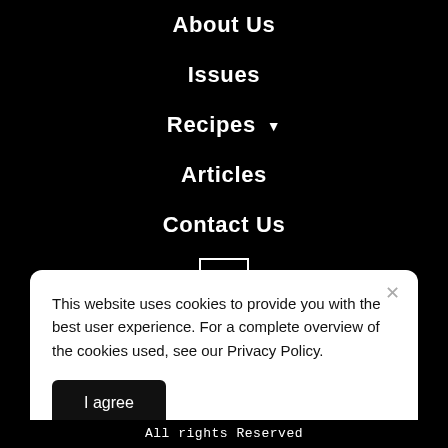About Us
Issues
Recipes ▼
Articles
Contact Us
[Figure (logo): Facebook icon: white letter f in a square white border on black background]
This website uses cookies to provide you with the best user experience. For a complete overview of the cookies used, see our Privacy Policy.
I agree
All rights Reserved